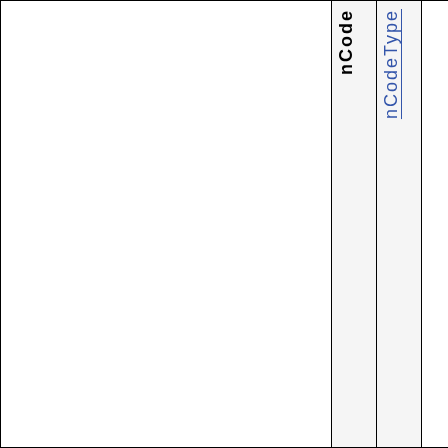|  | nCode | nCodeType |  |
| --- | --- | --- | --- |
|  |  |  |  |